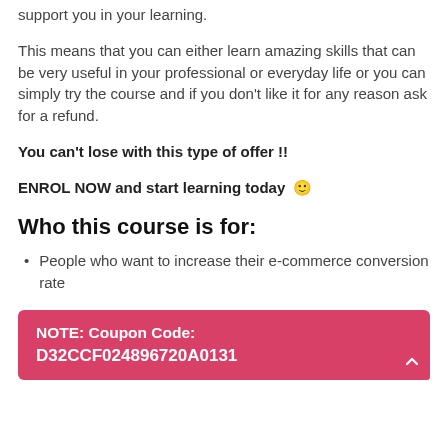support you in your learning.
This means that you can either learn amazing skills that can be very useful in your professional or everyday life or you can simply try the course and if you don't like it for any reason ask for a refund.
You can't lose with this type of offer !!
ENROL NOW and start learning today 🙂
Who this course is for:
People who want to increase their e-commerce conversion rate
NOTE: Coupon Code: D32CCF024896720A0131